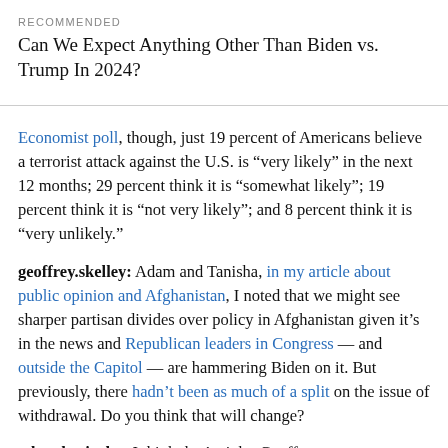RECOMMENDED
Can We Expect Anything Other Than Biden vs. Trump In 2024?
Economist poll, though, just 19 percent of Americans believe a terrorist attack against the U.S. is “very likely” in the next 12 months; 29 percent think it is “somewhat likely”; 19 percent think it is “not very likely”; and 8 percent think it is “very unlikely.”
geoffrey.skelley: Adam and Tanisha, in my article about public opinion and Afghanistan, I noted that we might see sharper partisan divides over policy in Afghanistan given it’s in the news and Republican leaders in Congress — and outside the Capitol — are hammering Biden on it. But previously, there hadn’t been as much of a split on the issue of withdrawal. Do you think that will change?
adam.berinsky: I think that’s right, Geoffrey,